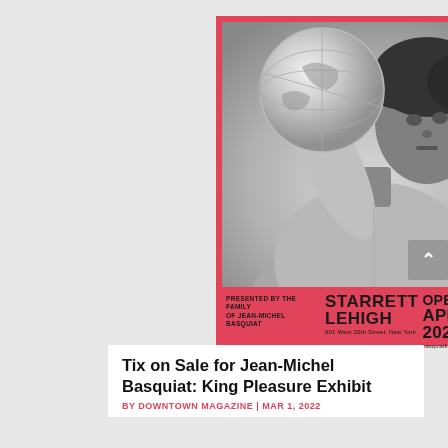[Figure (photo): Promotional poster for Jean-Michel Basquiat: King Pleasure exhibit. Black and white photograph of a young man (Basquiat) holding a globe above his shoulder, wearing a denim shirt. The poster has a red/pink background border. Bottom of poster shows: 'PRESENTED BY THE FAMILY OF JEAN-MICHEL BASQUIAT' on the left, 'STARRETT LEHIGH' venue name with address '601 West 26th Street, New York' in center, and 'OPENING APR 9, 2022' with website URL on the right.]
Tix on Sale for Jean-Michel Basquiat: King Pleasure Exhibit
BY DOWNTOWN MAGAZINE | MAR 1, 2022